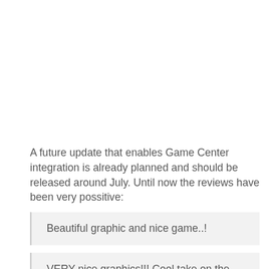A future update that enables Game Center integration is already planned and should be released around July. Until now the reviews have been very possitive:
Beautiful graphic and nice game..!
VERY nice graphics!!! Cool take on the match 3 genre! =oD

The different game modes make for nicely done different gameplay… It's great that GameCenter will be added in the next update! The dev is very active on the TA forums, which is ALWAYS…